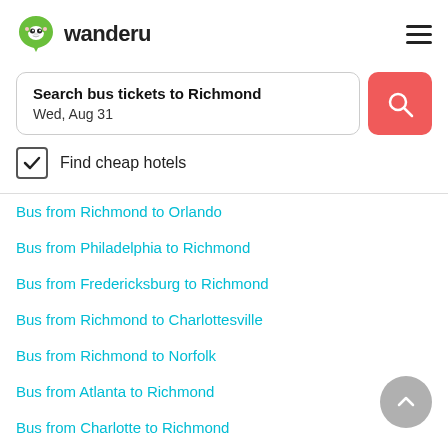wanderu
Search bus tickets to Richmond
Wed, Aug 31
Find cheap hotels
Bus from Richmond to Orlando
Bus from Philadelphia to Richmond
Bus from Fredericksburg to Richmond
Bus from Richmond to Charlottesville
Bus from Richmond to Norfolk
Bus from Atlanta to Richmond
Bus from Charlotte to Richmond
Bus from Newark to Richmond
Bus from Richmond to Raleigh
Bus from Richmond to Winston-Salem